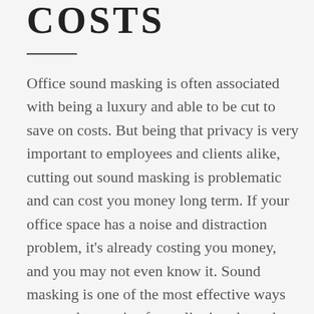COSTS
Office sound masking is often associated with being a luxury and able to be cut to save on costs. But being that privacy is very important to employees and clients alike, cutting out sound masking is problematic and can cost you money long term. If your office space has a noise and distraction problem, it's already costing you money, and you may not even know it. Sound masking is one of the most effective ways to stop those coins from slipping through the cracks.